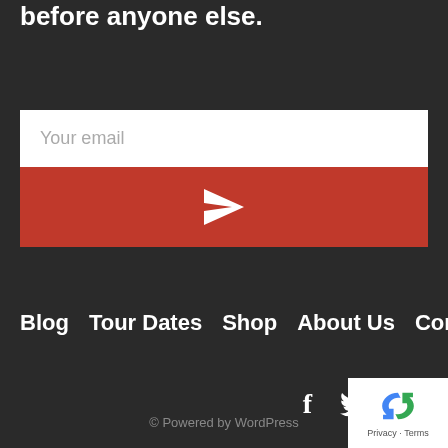before anyone else.
[Figure (screenshot): Email subscription form with a white text input field showing placeholder 'Your email' and a red submit button with a paper airplane icon]
Blog  Tour Dates  Shop  About Us  Contact
[Figure (infographic): Social media icons: Facebook (f), Twitter (bird), Instagram (camera outline)]
© Powered by WordPress
[Figure (logo): Google reCAPTCHA badge with recycling arrows icon and Privacy · Terms text]